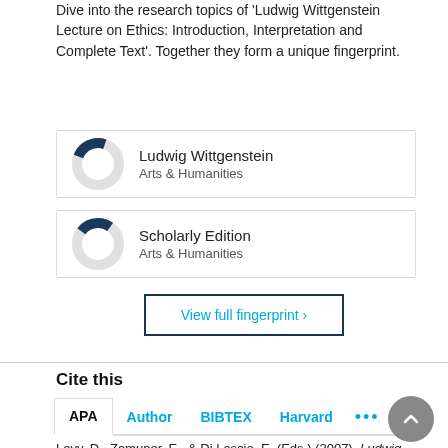Dive into the research topics of 'Ludwig Wittgenstein Lecture on Ethics: Introduction, Interpretation and Complete Text'. Together they form a unique fingerprint.
[Figure (donut-chart): Ludwig Wittgenstein]
Ludwig Wittgenstein
Arts & Humanities
[Figure (donut-chart): Scholarly Edition]
Scholarly Edition
Arts & Humanities
View full fingerprint ›
Cite this
APA  Author  BIBTEX  Harvard  •••
Levy, D., Zamuner, E., & Di Lascio, E. (Eds.) (2007). Ludwig Wittgenstein...